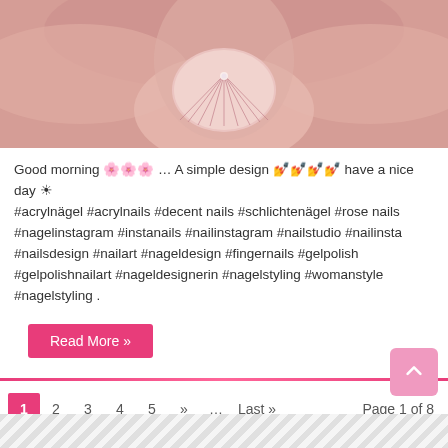[Figure (photo): Close-up photo of fingernails with pink/rose nail art design, showing decorative nail with fan/shell pattern and small rhinestone, fingers holding the nail visible]
Good morning 🌸🌸🌸 … A simple design 💅💅💅💅 have a nice day ☀ #acrylnägel #acrylnails #decent nails #schlichtenägel #rose nails #nagelinstagram #instanails #nailinstagram #nailstudio #nailinsta #nailsdesign #nailart #nageldesign #fingernails #gelpolish #gelpolishnailart #nageldesignerin #nagelstyling #womanstyle #nagelstyling .
Read More »
1  2  3  4  5  »  ...  Last »  Page 1 of 8